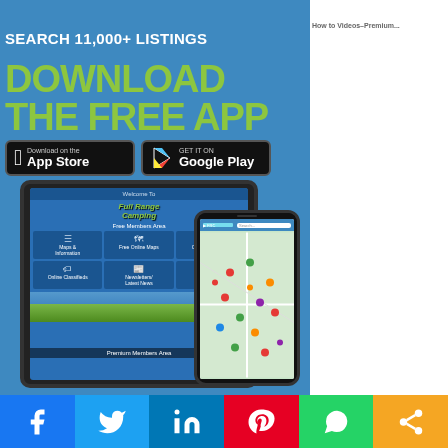[Figure (screenshot): App advertisement banner: 'SEARCH 11,000+ LISTINGS - DOWNLOAD THE FREE APP' with App Store and Google Play buttons, showing tablet and phone screenshots of Full Range Camping app with map and navigation screens]
[Figure (infographic): Social media share bar with Facebook, Twitter, LinkedIn, Pinterest, WhatsApp, and Share icons at the bottom of the page]